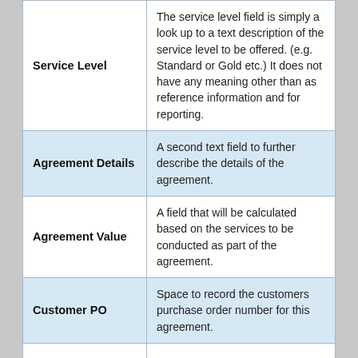| Field | Description |
| --- | --- |
| Service Level | The service level field is simply a look up to a text description of the service level to be offered. (e.g. Standard or Gold etc.) It does not have any meaning other than as reference information and for reporting. |
| Agreement Details | A second text field to further describe the details of the agreement. |
| Agreement Value | A field that will be calculated based on the services to be conducted as part of the agreement. |
| Customer PO | Space to record the customers purchase order number for this agreement. |